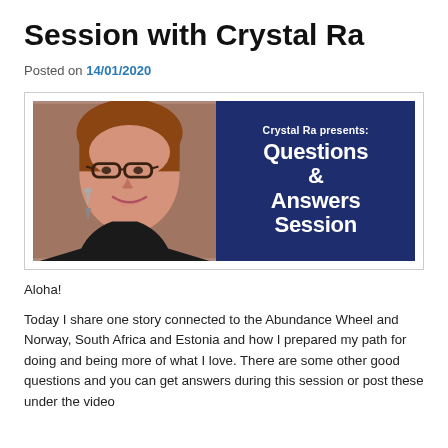Session with Crystal Ra
Posted on 14/01/2020
[Figure (photo): Promotional image for Crystal Ra's Questions & Answers Session. Left half shows a woman with glasses and dangle earrings smiling. Right half is dark navy blue with white bold text reading 'Crystal Ra presents: Questions & Answers Session'.]
Aloha!
Today I share one story connected to the Abundance Wheel and Norway, South Africa and Estonia and how I prepared my path for doing and being more of what I love. There are some other good questions and you can get answers during this session or post these under the video